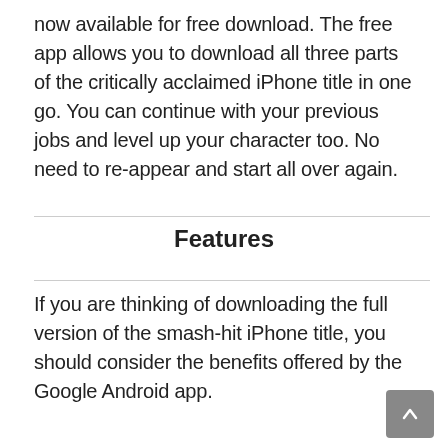now available for free download. The free app allows you to download all three parts of the critically acclaimed iPhone title in one go. You can continue with your previous jobs and level up your character too. No need to re-appear and start all over again.
Features
If you are thinking of downloading the full version of the smash-hit iPhone title, you should consider the benefits offered by the Google Android app.